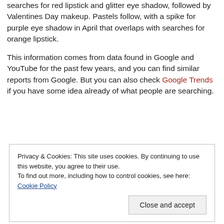searches for red lipstick and glitter eye shadow, followed by Valentines Day makeup. Pastels follow, with a spike for purple eye shadow in April that overlaps with searches for orange lipstick.
This information comes from data found in Google and YouTube for the past few years, and you can find similar reports from Google. But you can also check Google Trends if you have some idea already of what people are searching.
Privacy & Cookies: This site uses cookies. By continuing to use this website, you agree to their use.
To find out more, including how to control cookies, see here: Cookie Policy